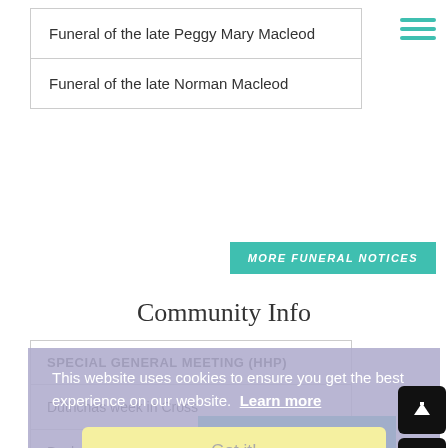Funeral of the late Peggy Mary Macleod
Funeral of the late Norman Macleod
MORE FUNERAL NOTICES
Community Info
SPECIAL GENERAL MEETING (HHP)
Dùthchas week in Cross
Bayhead Sessions AGM
Catalogue 35 from Hebridean Books
Friday for chess
This website uses cookies to ensure you get the best experience on our website. Learn more
Got it!
MORE COMMUNITY INFO